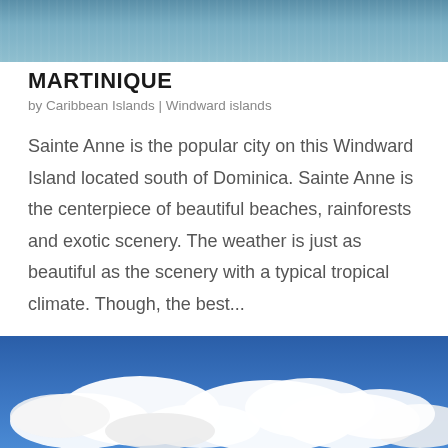[Figure (photo): Top portion of a photo showing dark blue-grey water/ocean surface]
MARTINIQUE
by Caribbean Islands | Windward islands
Sainte Anne is the popular city on this Windward Island located south of Dominica. Sainte Anne is the centerpiece of beautiful beaches, rainforests and exotic scenery. The weather is just as beautiful as the scenery with a typical tropical climate. Though, the best...
[Figure (photo): Bottom photo showing bright blue sky with white fluffy clouds]